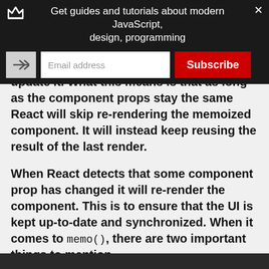Get guides and tutorials about modern JavaScript, design, programming
update it. What this means is that as long as the component props stay the same React will skip re-rendering the memoized component. It will instead keep reusing the result of the last render.
When React detects that some component prop has changed it will re-render the component. This is to ensure that the UI is kept up-to-date and synchronized. When it comes to memo(), there are two important things to mention.